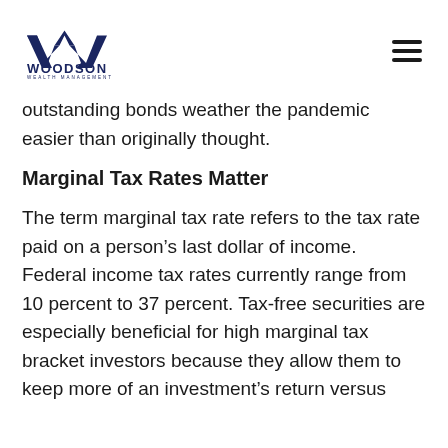WOODSON WEALTH MANAGEMENT
outstanding bonds weather the pandemic easier than originally thought.
Marginal Tax Rates Matter
The term marginal tax rate refers to the tax rate paid on a person's last dollar of income. Federal income tax rates currently range from 10 percent to 37 percent. Tax-free securities are especially beneficial for high marginal tax bracket investors because they allow them to keep more of an investment's return versus